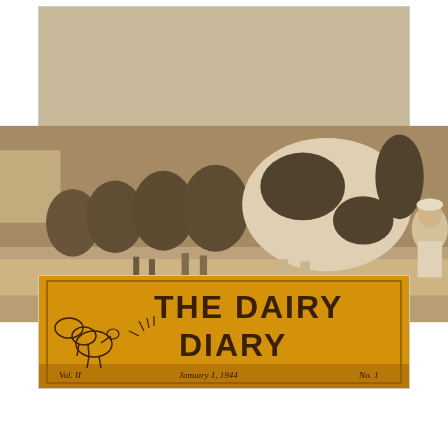[Figure (photo): Sepia photograph of cows lined up in a dairy barn, with a person milking them. Multiple Holstein cows visible from the rear in a long barn aisle.]
CPS Camp No. 97
Civilian Public Service, camp 97, Michigan. Cows in a dairy barn.
Box 2, Folder 15. MCC Photographs, Civilian Public Service, 1941-1947. IX-13-2.2. Mennonite
Central Committee Photo Archive
[Figure (photo): Orange/yellow masthead of 'The Dairy Diary' newsletter with hand-drawn illustration of cows. Text at bottom reads: Vol. II, January 1, 1944, No. 1]